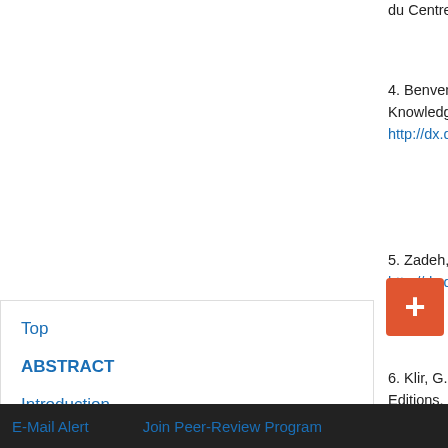du Centre National de la R
4. Benvenuti, P., Vivona, D. Knowledge Bases, Lecture Notes in Artificial Intelligence, http://dx.doi.org/10.1007/B
5. Zadeh, L.A. (1965) Fuz http://dx.doi.org/10.1
6. Klir, G.J. and Folger, T.A. Editions, Englewood Cliffs
7. Halmos, P.R. (1965) Me
8. Benvenuti, P. (2004) L'o
9. Aczél, J. (1966) Lecture
Top
ABSTRACT
Introduction
Preliminaires
A Generalization of the J-Independence Property
Extension to Fuzzy Setting
E-Mail Alert    Join Peer-Review Program